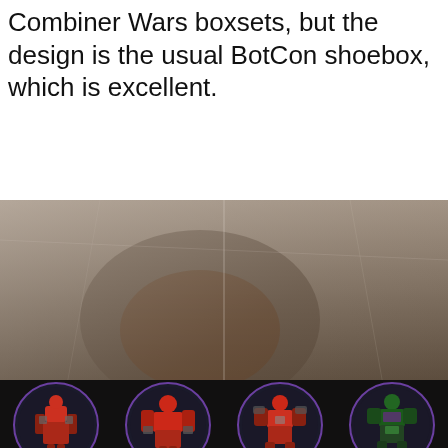Combiner Wars boxsets, but the design is the usual BotCon shoebox, which is excellent.
[Figure (photo): Close-up photograph of a Transformers BotCon box set top, showing plastic wrap over artwork with dark background, and a row of four circular character medallions at the bottom labeled SEACLAMP, RAMHORN, CICADACON, and PREDACOO (partially cut off, likely TARANTU-) with purple-bordered circles on a black background.]